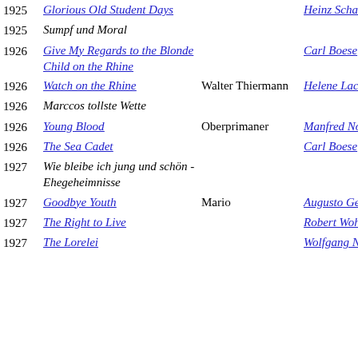| Year | Title | Role | Director |
| --- | --- | --- | --- |
| 1925 | Glorious Old Student Days |  | Heinz Schall |
| 1925 | Sumpf und Moral |  |  |
| 1926 | Give My Regards to the Blonde Child on the Rhine |  | Carl Boese |
| 1926 | Watch on the Rhine | Walter Thiermann | Helene Lackner |
| 1926 | Marccos tollste Wette |  |  |
| 1926 | Young Blood | Oberprimaner | Manfred Noa |
| 1926 | The Sea Cadet |  | Carl Boese |
| 1927 | Wie bleibe ich jung und schön - Ehegeheimnisse |  |  |
| 1927 | Goodbye Youth | Mario | Augusto Genina |
| 1927 | The Right to Live |  | Robert Wohlmuth |
| 1927 | The Lorelei |  | Wolfgang Neff |